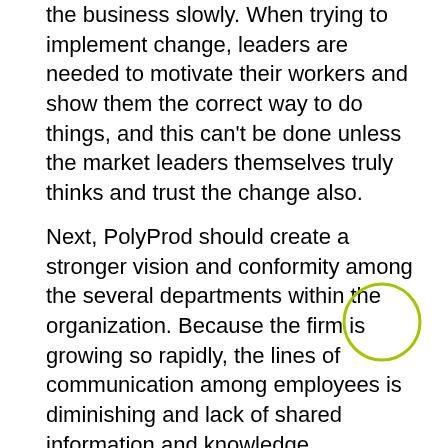the business slowly. When trying to implement change, leaders are needed to motivate their workers and show them the correct way to do things, and this can't be done unless the market leaders themselves truly thinks and trust the change also.
Next, PolyProd should create a stronger vision and conformity among the several departments within the organization. Because the firm is growing so rapidly, the lines of communication among employees is diminishing and lack of shared information and knowledge. Empowering professionals in the distributed vision and shared knowledge to higher needs can be carried out in hopes of bringing the departments together and having meetings and share the new information technology. With PolyProd being a huge company, empowering professionals and market leaders to shift ability down from the most notable of the organizational hierarchy is a superb weigh in creating new market leaders among their subordinates. The 3rd solution is to also have a training